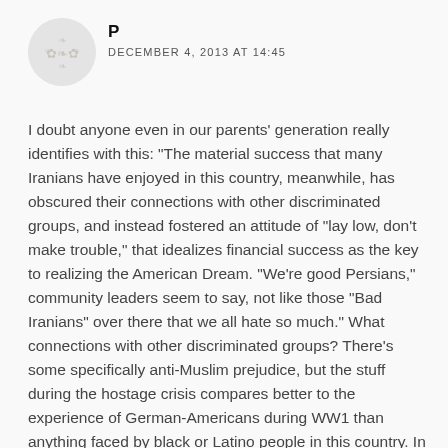[Figure (illustration): Circular avatar placeholder with faint decorative pattern]
P
DECEMBER 4, 2013 AT 14:45
I doubt anyone even in our parents' generation really identifies with this: “The material success that many Iranians have enjoyed in this country, meanwhile, has obscured their connections with other discriminated groups, and instead fostered an attitude of “lay low, don’t make trouble,” that idealizes financial success as the key to realizing the American Dream. “We’re good Persians,” community leaders seem to say, not like those “Bad Iranians” over there that we all hate so much.” What connections with other discriminated groups? There’s some specifically anti-Muslim prejudice, but the stuff during the hostage crisis compares better to the experience of German-Americans during WW1 than anything faced by black or Latino people in this country. In the older generation, people are often even more disdainful of the ‘bad Iranians’ than white Americans are, and not just for Americans’ sake. There are undeniable ways in which Iranians and Iranian-Americans suffer